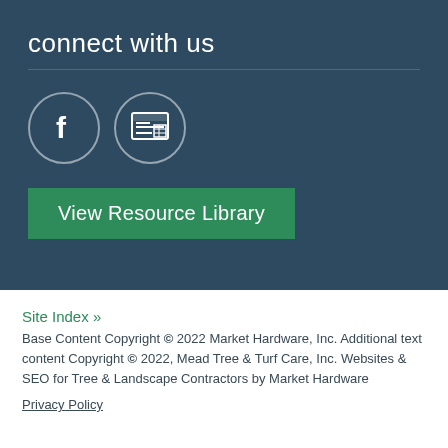connect with us
[Figure (illustration): Two circular icon buttons: a Facebook icon (f) and a newspaper/resource icon, outlined in white on dark background]
View Resource Library
Site Index »
Base Content Copyright © 2022 Market Hardware, Inc. Additional text content Copyright © 2022, Mead Tree & Turf Care, Inc. Websites & SEO for Tree & Landscape Contractors by Market Hardware
Privacy Policy